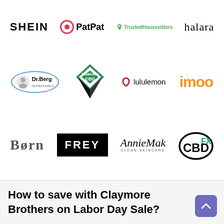[Figure (logo): Row 1 brand logos: SHEIN, PatPat, TrustedHousesitters, halara]
[Figure (logo): Row 2 brand logos: Dr. Berg, Diamond CBD, lululemon, imoo]
[Figure (logo): Row 3 brand logos: Born, FREY, AnnieMak Clean Skincare, CBDfx]
How to save with Claymore Brothers on Labor Day Sale?